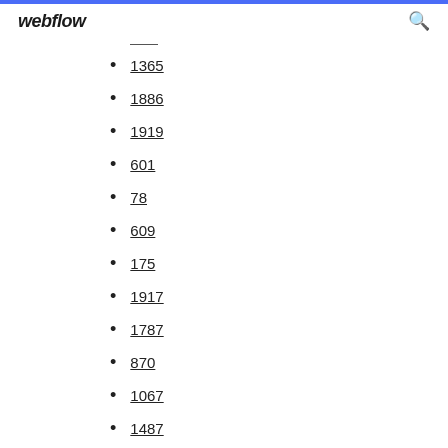webflow
1365
1886
1919
601
78
609
175
1917
1787
870
1067
1487